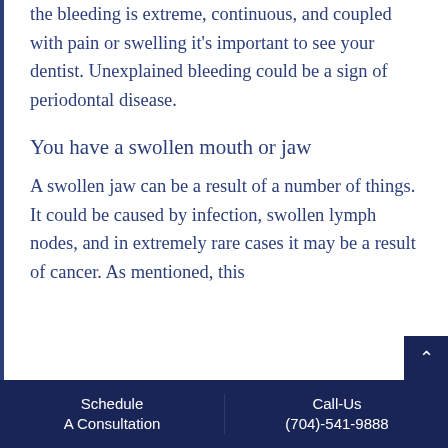the bleeding is extreme, continuous, and coupled with pain or swelling it's important to see your dentist. Unexplained bleeding could be a sign of periodontal disease.
You have a swollen mouth or jaw
A swollen jaw can be a result of a number of things. It could be caused by infection, swollen lymph nodes, and in extremely rare cases it may be a result of cancer. As mentioned, this
Schedule A Consultation    Call-Us (704)-541-9888